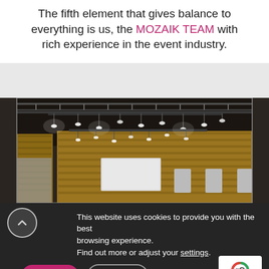The fifth element that gives balance to everything is us, the MOZAIK TEAM with rich experience in the event industry.
[Figure (photo): Interior of an event venue with exposed steel truss ceiling, stage lighting rigs with multiple spotlights, wooden wall panels, and a projection screen in the background.]
This website uses cookies to provide you with the best browsing experience. Find out more or adjust your settings.